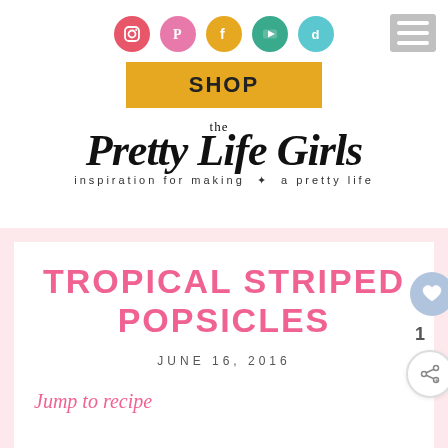[Figure (screenshot): Social media icons row: Instagram (red-pink), Pinterest (pink), Facebook (yellow/orange), YouTube (teal/green), TikTok (cyan) — all circular]
[Figure (other): Hamburger menu icon (grey rectangle with three white horizontal lines) in top right corner]
[Figure (other): SHOP button — golden/amber rectangle with bold text 'SHOP']
[Figure (logo): The Pretty Life Girls logo — large serif black text with tagline 'inspiration for making a pretty life']
TROPICAL STRIPED POPSICLES
JUNE 16, 2016
Jump to recipe